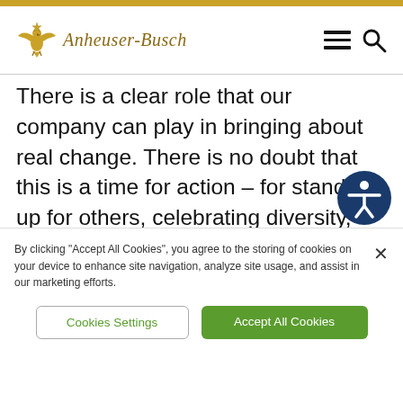[Figure (logo): Anheuser-Busch logo with golden eagle emblem and italic serif logotype]
There is a clear role that our company can play in bringing about real change. There is no doubt that this is a time for action – for standing up for others, celebrating diversity, and demanding equality and inclusion. As a company and family of brands, we will continue
By clicking "Accept All Cookies", you agree to the storing of cookies on your device to enhance site navigation, analyze site usage, and assist in our marketing efforts.
Cookies Settings
Accept All Cookies